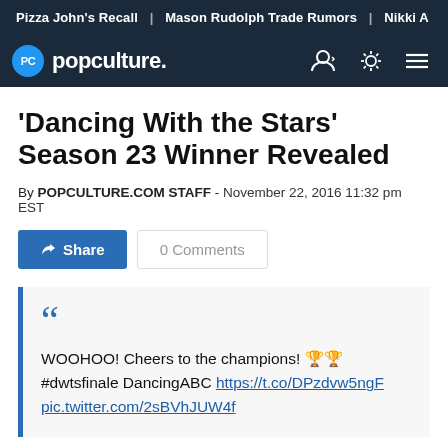Pizza John's Recall | Mason Rudolph Trade Rumors | Nikki A
[Figure (logo): Popculture.com navigation bar with PC logo badge, user icon, brightness icon, and hamburger menu]
'Dancing With the Stars' Season 23 Winner Revealed
By POPCULTURE.COM STAFF - November 22, 2016 11:32 pm EST
Share | 0 Comments
WOOHOO! Cheers to the champions! 🏆🏆 #dwtsfinale DancingABC https://t.co/DPzdvw5ngF pic.twitter.com/2sBVhJUW4f